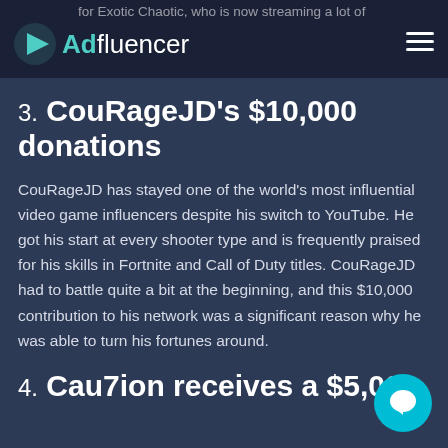Adfluencer — for Exotic Chaotic, who is now streaming a lot of
3. CouRageJD's $10,000 donations
CouRageJD has stayed one of the world's most influential video game influencers despite his switch to YouTube. He got his start at every shooter type and is frequently praised for his skills in Fortnite and Call of Duty titles. CouRageJD had to battle quite a bit at the beginning, and this $10,000 contribution to his network was a significant reason why he was able to turn his fortunes around.
4. Cau7ion receives a $5,000